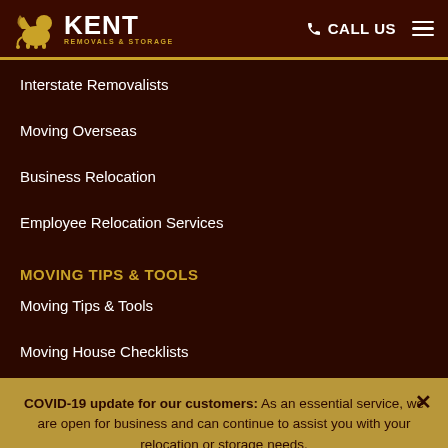KENT REMOVALS & STORAGE — CALL US
Interstate Removalists
Moving Overseas
Business Relocation
Employee Relocation Services
MOVING TIPS & TOOLS
Moving Tips & Tools
Moving House Checklists
Moving Estimate
FAQs
COVID-19 update for our customers: As an essential service, we are open for business and can continue to assist you with your relocation or storage needs. Read on >